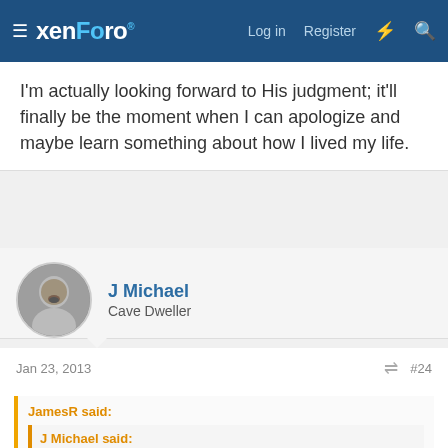xenForo  Log in  Register
I'm actually looking forward to His judgment; it'll finally be the moment when I can apologize and maybe learn something about how I lived my life.
J Michael
Cave Dweller
Jan 23, 2013  #24
JamesR said:
J Michael said:
JamesR said:
The toll-houses don't bother me, the only thing about them that bothers me is the concept that Angels and Demons will
Click to expand...